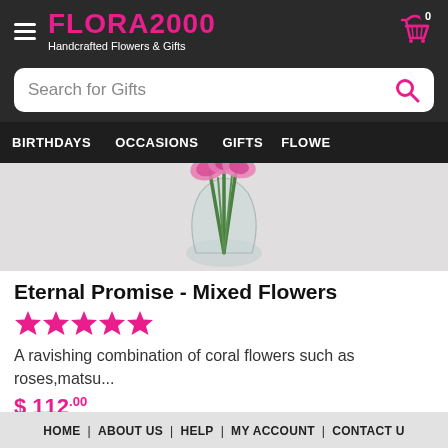FLORA2000 Handcrafted Flowers & Gifts
[Figure (screenshot): Search bar with placeholder text 'Search for Gifts' and a pink magnifying glass icon on the right]
BIRTHDAYS  OCCASIONS  GIFTS  FLOWERS
[Figure (photo): Product photo showing a glass vase with pink and green mixed flowers on a light gray background]
Eternal Promise - Mixed Flowers
[Figure (other): 5 pink star rating icons]
A ravishing combination of coral flowers such as roses,matsu...
$ 112.00
HOME  |  ABOUT US  |  HELP  |  MY ACCOUNT  |  CONTACT US